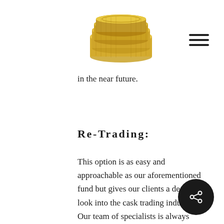[Figure (logo): Gold coin stack logo]
in the near future.
Re-Trading:
This option is as easy and approachable as our aforementioned fund but gives our clients a deeper look into the cask trading industry. Our team of specialists is always sourcing, monitoring the industry, and trading. We know when the best time to sell your cask is, and we'll tell you. So, as your portfolio grows you can slowly start re-trading your casks after several years of storage, depending on how the brands in question are performing at that point in time. This exit strategy requires more effort but also gives investors greater control over how their portfolios are traded and the returns they receive. Of course, our specialists will advise on prices that can be realized and if that